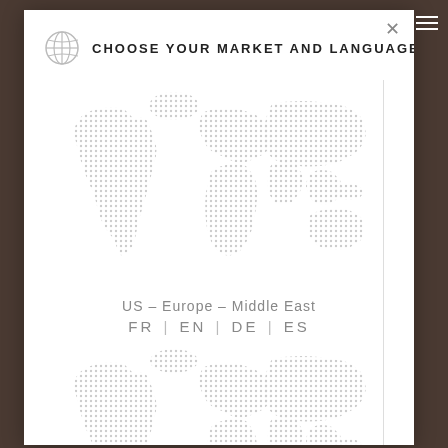CHOOSE YOUR MARKET AND LANGUAGE
[Figure (map): Dotted world map illustration for US - Europe - Middle East region]
US – Europe – Middle East
FR | EN | DE | ES
[Figure (map): Second dotted world map illustration]